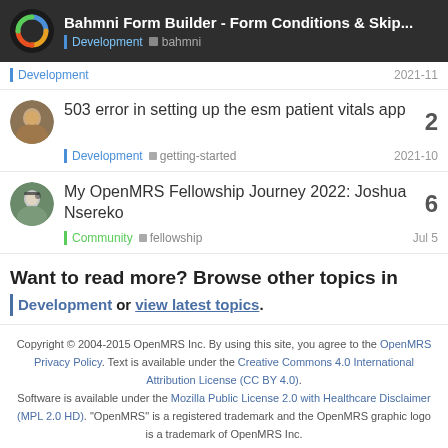Bahmni Form Builder - Form Conditions & Skip... | Development | bahmni
Development | 2021-11
503 error in setting up the esm patient vitals app
Development | getting-started | 2021-10
My OpenMRS Fellowship Journey 2022: Joshua Nsereko
Community | fellowship | Jul 5
Want to read more? Browse other topics in Development or view latest topics.
Copyright © 2004-2015 OpenMRS Inc. By using this site, you agree to the OpenMRS Privacy Policy. Text is available under the Creative Commons 4.0 International Attribution License (CC BY 4.0). Software is available under the Mozilla Public License 2.0 with Healthcare Disclaimer (MPL 2.0 HD). "OpenMRS" is a registered trademark and the OpenMRS graphic logo is a trademark of OpenMRS Inc.